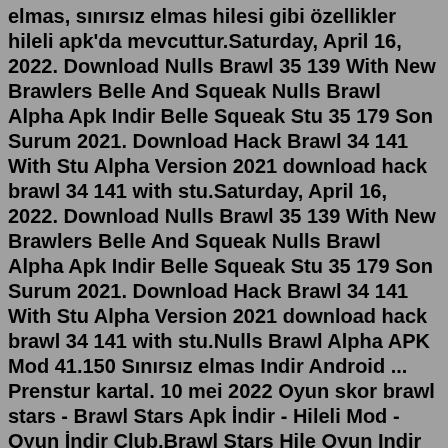elmas, sınırsız elmas hilesi gibi özellikler hileli apk'da mevcuttur.Saturday, April 16, 2022. Download Nulls Brawl 35 139 With New Brawlers Belle And Squeak Nulls Brawl Alpha Apk Indir Belle Squeak Stu 35 179 Son Surum 2021. Download Hack Brawl 34 141 With Stu Alpha Version 2021 download hack brawl 34 141 with stu.Saturday, April 16, 2022. Download Nulls Brawl 35 139 With New Brawlers Belle And Squeak Nulls Brawl Alpha Apk Indir Belle Squeak Stu 35 179 Son Surum 2021. Download Hack Brawl 34 141 With Stu Alpha Version 2021 download hack brawl 34 141 with stu.Nulls Brawl Alpha APK Mod 41.150 Sınırsız elmas Indir Android ... Prenstur kartal. 10 mei 2022 Oyun skor brawl stars - Brawl Stars Apk İndir - Hileli Mod - Oyun İndir Club,Brawl Stars Hile Oyun Indir Club. Nulls Brawl Stars in Roblox olarak bilinen oyun modu, 2021 yılında en popülerler arasında yer almaktadır.Feb 12, 2022 · February 12, 2022 by John Smith. Today we brought a new modified version of Brawl Stars for android gamers. Yeah, Nulls Brawl Alpha is the modified version of the